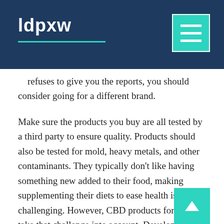ldpxw
refuses to give you the reports, you should consider going for a different brand.
Make sure the products you buy are all tested by a third party to ensure quality. Products should also be tested for mold, heavy metals, and other contaminants. They typically don’t like having something new added to their food, making supplementing their diets to ease health issues challenging. However, CBD products for pets take that challenge into account. Developed by dedicated veterinarians, they’ve been designed to pass the taste and smell test.
When the deletion comes from the 14 See Chapter 5 for an explanation of in situ hybridization hair loss and